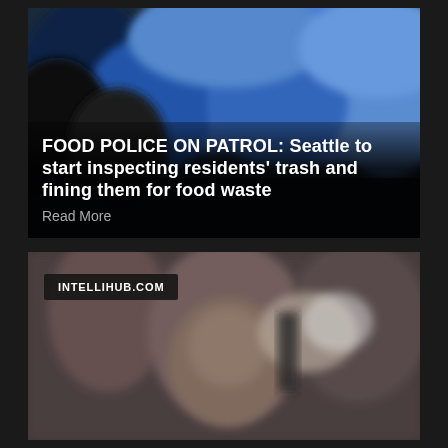[Figure (photo): Blurry photo of blue and black garbage bags/trash bags piled together, dark background]
FOOD POLICE ON PATROL: Seattle to start inspecting residents' trash and fining them for food waste
Read More
[Figure (photo): Blurry close-up photo of a person's face being pepper sprayed or restrained, crowd scene in background]
INTELLIHUB.COM